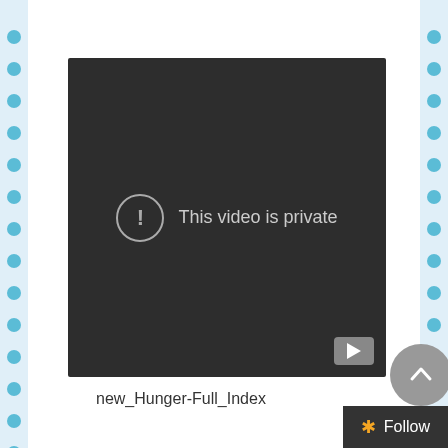[Figure (screenshot): A dark video player showing 'This video is private' message with an exclamation mark icon inside a circle, and a YouTube logo button in the bottom right corner.]
new_Hunger-Full_Index